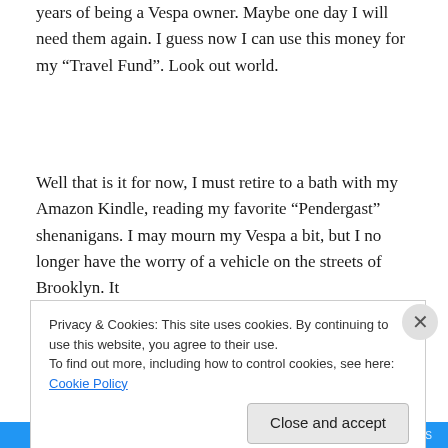years of being a Vespa owner. Maybe one day I will need them again. I guess now I can use this money for my “Travel Fund”. Look out world.
Well that is it for now, I must retire to a bath with my Amazon Kindle, reading my favorite “Pendergast” shenanigans. I may mourn my Vespa a bit, but I no longer have the worry of a vehicle on the streets of Brooklyn. It
Privacy & Cookies: This site uses cookies. By continuing to use this website, you agree to their use.
To find out more, including how to control cookies, see here: Cookie Policy
Close and accept